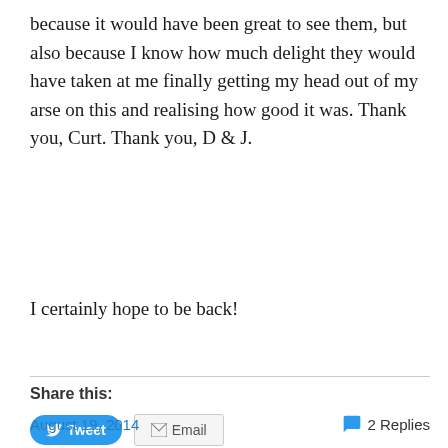because it would have been great to see them, but also because I know how much delight they would have taken at me finally getting my head out of my arse on this and realising how good it was. Thank you, Curt. Thank you, D & J.
I certainly hope to be back!
Share this:
Loading...
August 19, 2014   2 Replies